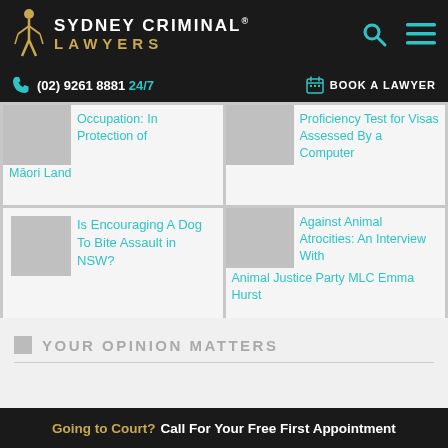SYDNEY CRIMINAL® LAWYERS
(02) 9261 8881 24/7   BOOK A LAWYER
Occupation: In Protection of Māori Land
Proficiency Test for Visas Assessed By a Computer
Is Encouraging A Dog To Bite Assault in NSW?
Against Animal Atrocities: An Interview With Animal Justice Party MLC Emma Hurst
YOUR OPINION MATTERS
Going to Court? Call For Your Free First Appointment